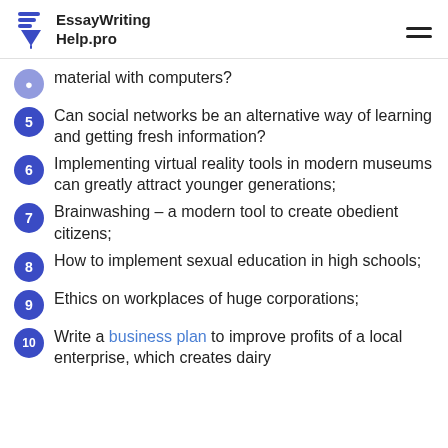EssayWriting Help.pro
material with computers?
Can social networks be an alternative way of learning and getting fresh information?
Implementing virtual reality tools in modern museums can greatly attract younger generations;
Brainwashing – a modern tool to create obedient citizens;
How to implement sexual education in high schools;
Ethics on workplaces of huge corporations;
Write a business plan to improve profits of a local enterprise, which creates dairy